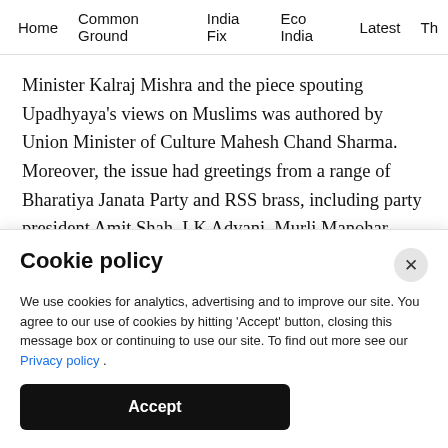Home   Common Ground   India Fix   Eco India   Latest   Th
Minister Kalraj Mishra and the piece spouting Upadhyaya's views on Muslims was authored by Union Minister of Culture Mahesh Chand Sharma. Moreover, the issue had greetings from a range of Bharatiya Janata Party and RSS brass, including party president Amit Shah, LK Advani, Murli Manohar Joshi and Mohan Bhagwat.
Cookie policy
We use cookies for analytics, advertising and to improve our site. You agree to our use of cookies by hitting 'Accept' button, closing this message box or continuing to use our site. To find out more see our Privacy policy .
Accept